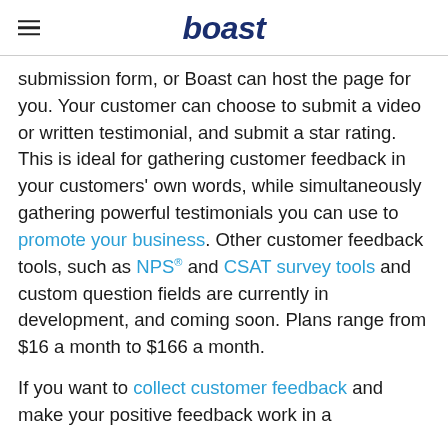boast
submission form, or Boast can host the page for you. Your customer can choose to submit a video or written testimonial, and submit a star rating. This is ideal for gathering customer feedback in your customers' own words, while simultaneously gathering powerful testimonials you can use to promote your business. Other customer feedback tools, such as NPS® and CSAT survey tools and custom question fields are currently in development, and coming soon. Plans range from $16 a month to $166 a month.
If you want to collect customer feedback and make your positive feedback work in a